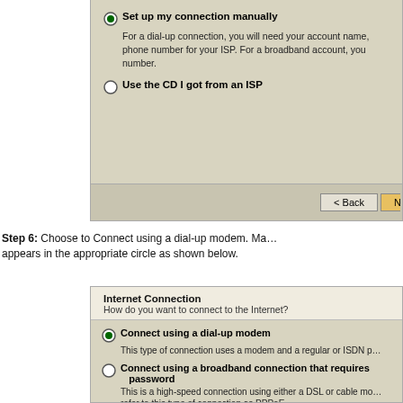[Figure (screenshot): Top portion of a Windows XP 'New Connection Wizard' dialog showing two radio options: 'Set up my connection manually' (selected) and 'Use the CD I got from an ISP', with a Back button and partially visible Next button at the bottom.]
Step 6: Choose to Connect using a dial-up modem. Make sure a dot appears in the appropriate circle as shown below.
[Figure (screenshot): Bottom portion of a Windows XP 'New Connection Wizard' showing the Internet Connection screen with three options: 'Connect using a dial-up modem' (selected), 'Connect using a broadband connection that requires a user name and password', and 'Connect using a broadband connection that is always on'.]